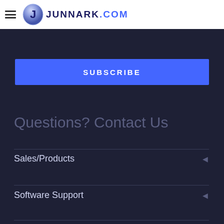JUNNARK.COM — navigation header with logo
E-mail
SUBSCRIBE
Questions? Contact Us
Sales/Products
Software Support